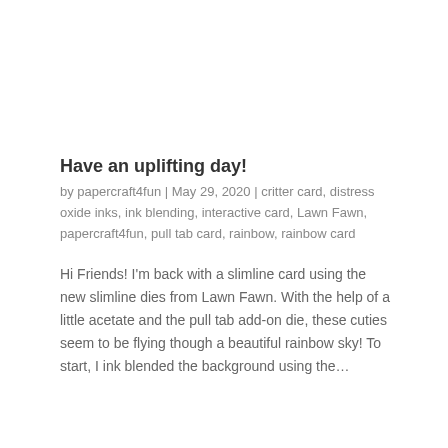Have an uplifting day!
by papercraft4fun | May 29, 2020 | critter card, distress oxide inks, ink blending, interactive card, Lawn Fawn, papercraft4fun, pull tab card, rainbow, rainbow card
Hi Friends!  I'm back with a slimline card using the new slimline dies from Lawn Fawn.  With the help of a little acetate and the pull tab add-on die, these cuties seem to be flying though a beautiful rainbow sky! To start, I ink blended the background using the…